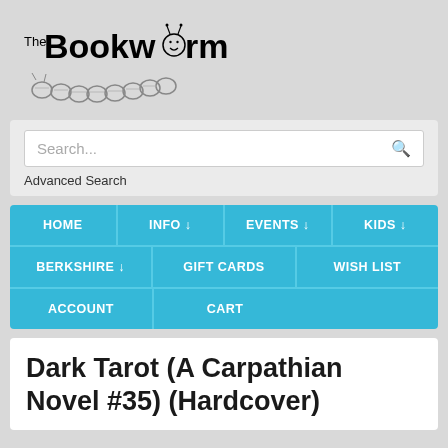[Figure (logo): The Bookworm logo with stylized caterpillar worm illustration and text 'The Bookworm']
Search...
Advanced Search
HOME | INFO ↓ | EVENTS ↓ | KIDS ↓ | BERKSHIRE ↓ | GIFT CARDS | WISH LIST | ACCOUNT | CART
Dark Tarot (A Carpathian Novel #35) (Hardcover)